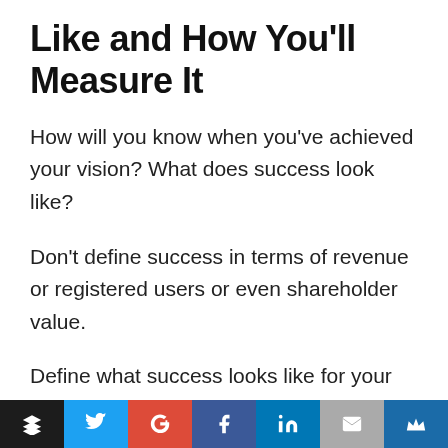Like and How You'll Measure It
How will you know when you've achieved your vision? What does success look like?
Don't define success in terms of revenue or registered users or even shareholder value.
Define what success looks like for your customers.
Did they get a question answered? Did they connect with a friend? Did they get a job interview? Did they find the perfect little black
Social share bar: Buffer, Twitter, Google+, Facebook, LinkedIn, Email, Crown